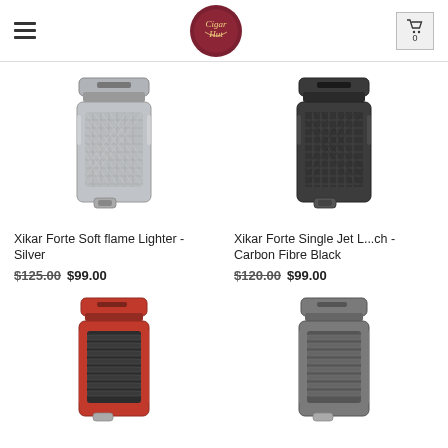Cigar Hut - navigation header with logo and cart
[Figure (photo): Xikar Forte Soft flame Lighter in Silver color]
Xikar Forte Soft flame Lighter - Silver
$125.00  $99.00
[Figure (photo): Xikar Forte Single Jet Lighter in Carbon Fibre Black color]
Xikar Forte Single Jet L...ch - Carbon Fibre Black
$120.00  $99.00
[Figure (photo): Xikar lighter in red and black color]
[Figure (photo): Xikar lighter in gunmetal/grey color]